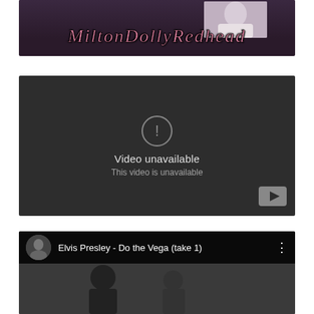[Figure (screenshot): First video thumbnail: dark purple background with a figure in light clothing and pink cursive script text reading 'MiltonDollyRedhead']
[Figure (screenshot): Second video thumbnail: dark grey YouTube player showing 'Video unavailable / This video is unavailable' with warning icon and YouTube logo button]
[Figure (screenshot): Third video thumbnail: YouTube video titled 'Elvis Presley - Do the Vega (take 1)' with Elvis avatar and black-and-white scene of two people]